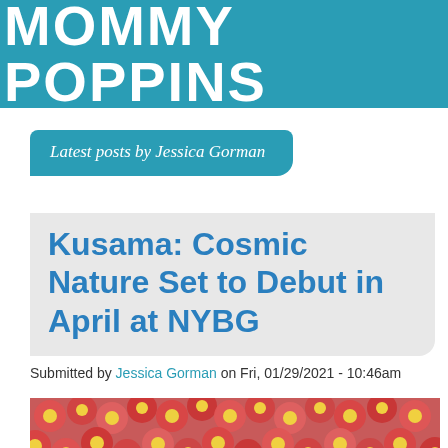MOMMY POPPINS?
Latest posts by Jessica Gorman
Kusama: Cosmic Nature Set to Debut in April at NYBG
Submitted by Jessica Gorman on Fri, 01/29/2021 - 10:46am
[Figure (photo): Dense field of pink/red daisy-like flowers with yellow centers, top portion of an article image]